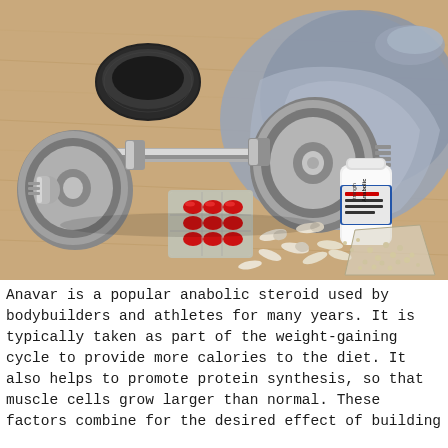[Figure (photo): A chrome dumbbell with weight plates, a black wristband/sweatband, a blue-grey towel, a white bottle labeled 'Anabolic Strength', a blister pack of red gel capsules, loose white/beige capsules, and a small plastic bag of small beige pellets, all arranged on a light wooden surface.]
Anavar is a popular anabolic steroid used by bodybuilders and athletes for many years. It is typically taken as part of the weight-gaining cycle to provide more calories to the diet. It also helps to promote protein synthesis, so that muscle cells grow larger than normal. These factors combine for the desired effect of building